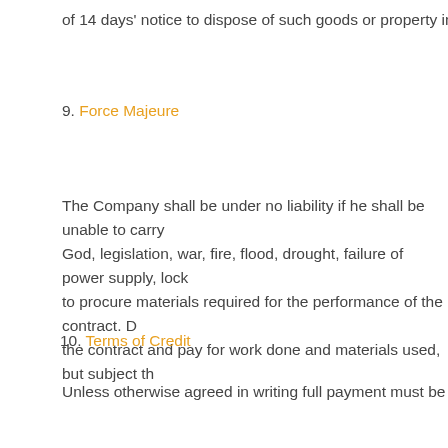of 14 days' notice to dispose of such goods or property in such mann
9. Force Majeure
The Company shall be under no liability if he shall be unable to carry God, legislation, war, fire, flood, drought, failure of power supply, lock to procure materials required for the performance of the contract. D the contract and pay for work done and materials used, but subject th
10. Terms of Credit
Unless otherwise agreed in writing full payment must be received by
10. Law
These conditions and all other express terms of the contract shall be